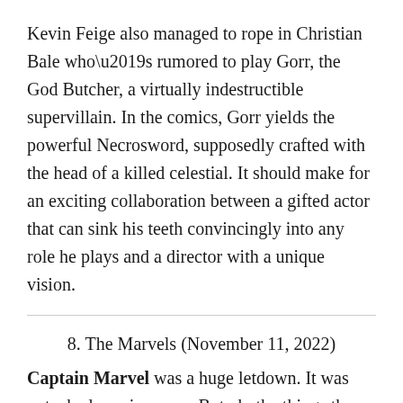Kevin Feige also managed to rope in Christian Bale who’s rumored to play Gorr, the God Butcher, a virtually indestructible supervillain. In the comics, Gorr yields the powerful Necrosword, supposedly crafted with the head of a killed celestial. It should make for an exciting collaboration between a gifted actor that can sink his teeth convincingly into any role he plays and a director with a unique vision.
8. The Marvels (November 11, 2022)
Captain Marvel was a huge letdown. It was not a bad movie per se. But oh, the things they could have done